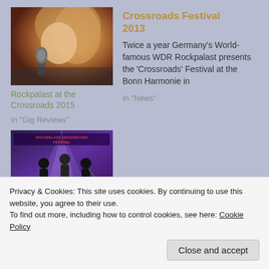[Figure (photo): Close-up photo of a person singing into a microphone, warm tones]
Rockpalast at the Crossroads 2015
In "Gig Reviews"
Crossroads Festival 2013
Twice a year Germany's World-famous WDR Rockpalast presents the 'Crossroads' Festival at the Bonn Harmonie in
In "News"
[Figure (photo): Concert photo showing performers on stage with purple/blue lighting and text overlay 'Rockpalast Crossroads Festival']
Privacy & Cookies: This site uses cookies. By continuing to use this website, you agree to their use.
To find out more, including how to control cookies, see here: Cookie Policy
Close and accept